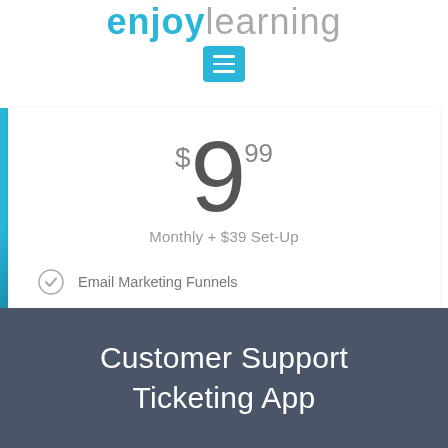enjoylearning
$9.99
Monthly + $39 Set-Up
Email Marketing Funnels
Newsletter Subscriptions
Personalized Email Address & Hosting
Add to Cart
Customer Support Ticketing App